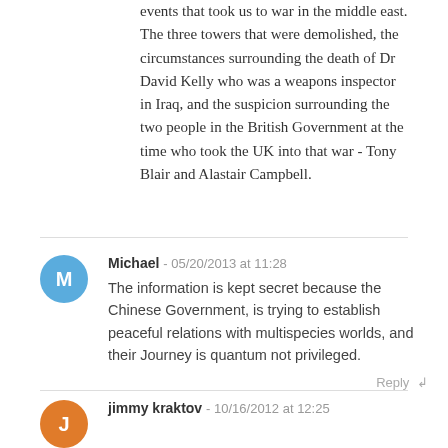events that took us to war in the middle east. The three towers that were demolished, the circumstances surrounding the death of Dr David Kelly who was a weapons inspector in Iraq, and the suspicion surrounding the two people in the British Government at the time who took the UK into that war - Tony Blair and Alastair Campbell.
Michael - 05/20/2013 at 11:28
The information is kept secret because the Chinese Government, is trying to establish peaceful relations with multispecies worlds, and their Journey is quantum not privileged.
Reply
jimmy kraktov - 10/16/2012 at 12:25